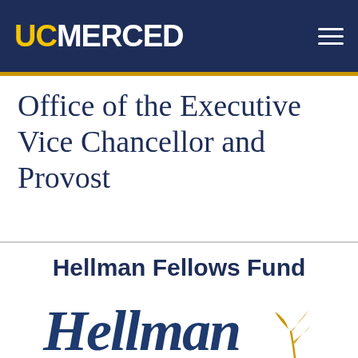UC MERCED
Office of the Executive Vice Chancellor and Provost
Hellman Fellows Fund
[Figure (logo): Hellman Fellows Fund logo: script-style cursive 'Hellman' text in navy blue with a gold leaf/plant sprout icon to the right]